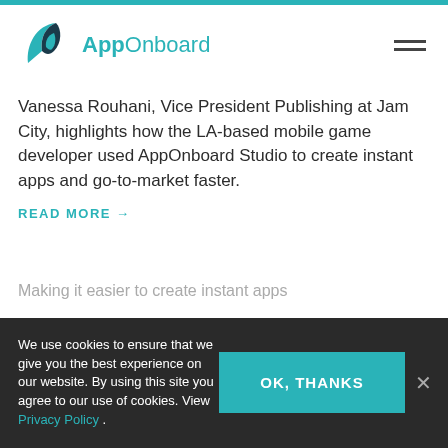[Figure (logo): AppOnboard logo with teal swoosh icon and teal text reading AppOnboard]
Vanessa Rouhani, Vice President Publishing at Jam City, highlights how the LA-based mobile game developer used AppOnboard Studio to create instant apps and go-to-market faster.
READ MORE →
Making it easier to create instant apps
We use cookies to ensure that we give you the best experience on our website. By using this site you agree to our use of cookies. View Privacy Policy .
OK, THANKS